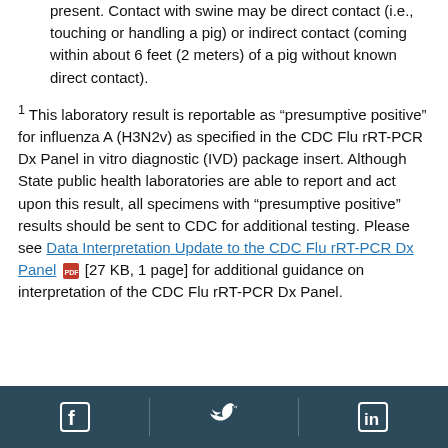present. Contact with swine may be direct contact (i.e., touching or handling a pig) or indirect contact (coming within about 6 feet (2 meters) of a pig without known direct contact).
1 This laboratory result is reportable as “presumptive positive” for influenza A (H3N2v) as specified in the CDC Flu rRT-PCR Dx Panel in vitro diagnostic (IVD) package insert. Although State public health laboratories are able to report and act upon this result, all specimens with “presumptive positive” results should be sent to CDC for additional testing. Please see Data Interpretation Update to the CDC Flu rRT-PCR Dx Panel [27 KB, 1 page] for additional guidance on interpretation of the CDC Flu rRT-PCR Dx Panel.
Social media icons: Facebook, Twitter, LinkedIn